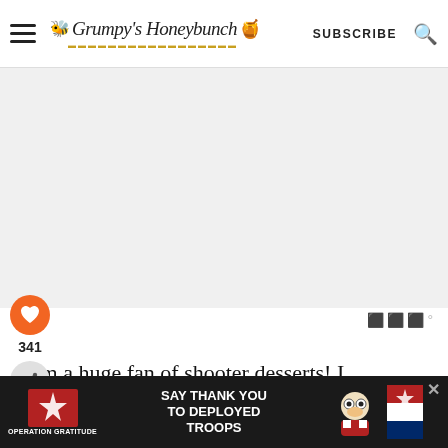Grumpy's Honeybunch | SUBSCRIBE
[Figure (photo): Large food/recipe photo placeholder area (light gray background)]
[Figure (other): Orange heart/save button with count 341 and share button on left sidebar]
I am a huge fan of shooter desserts! I several shooter glasses that are perfect for this particular recipe. The p... very.
[Figure (other): What's Next overlay: Strawberry Baked Donuts with donut thumbnail image]
[Figure (other): Advertisement banner: Operation Gratitude - SAY THANK YOU TO DEPLOYED TROOPS]